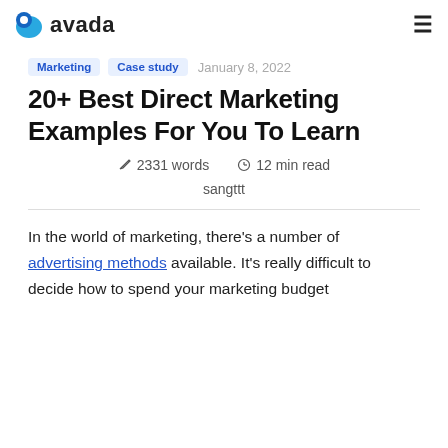avada
Marketing   Case study   January 8, 2022
20+ Best Direct Marketing Examples For You To Learn
✏ 2331 words   🕐 12 min read
sangttt
In the world of marketing, there's a number of advertising methods available. It's really difficult to decide how to spend your marketing budget